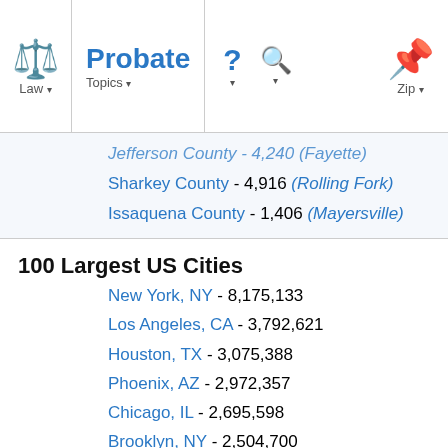Law | Probate Topics | ? | Search | Zip
Sharkey County - 4,916 (Rolling Fork)
Issaquena County - 1,406 (Mayersville)
100 Largest US Cities
New York, NY - 8,175,133
Los Angeles, CA - 3,792,621
Houston, TX - 3,075,388
Phoenix, AZ - 2,972,357
Chicago, IL - 2,695,598
Brooklyn, NY - 2,504,700
San Diego, CA - 2,259,481
San Jose, CA - 1,661,105
Manhattan, NY - 1,585,873
Philadelphia, PA - 1,526,006
Bronx, NY - 1,385,108